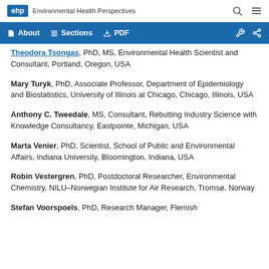ehp Environmental Health Perspectives
Theodora Tsongas, PhD, MS, Environmental Health Scientist and Consultant, Portland, Oregon, USA
Mary Turyk, PhD, Associate Professor, Department of Epidemiology and Biostatistics, University of Illinois at Chicago, Chicago, Illinois, USA
Anthony C. Tweedale, MS, Consultant, Rebutting Industry Science with Knowledge Consultancy, Eastpointe, Michigan, USA
Marta Venier, PhD, Scientist, School of Public and Environmental Affairs, Indiana University, Bloomington, Indiana, USA
Robin Vestergren, PhD, Postdoctoral Researcher, Environmental Chemistry, NILU–Norwegian Institute for Air Research, Tromsø, Norway
Stefan Voorspoels, PhD, Research Manager, Flemish